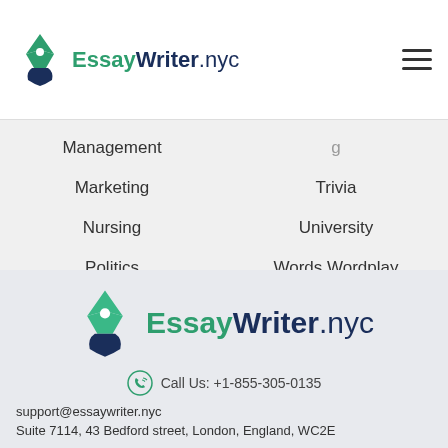[Figure (logo): EssayWriter.nyc logo with pen nib icon in top navigation bar]
Management
Marketing
Nursing
Politics
Trivia
University
Words Wordplay
[Figure (logo): EssayWriter.nyc large logo with pen nib icon in footer]
Call Us: +1-855-305-0135
support@essaywriter.nyc
Suite 7114, 43 Bedford street, London, England, WC2E